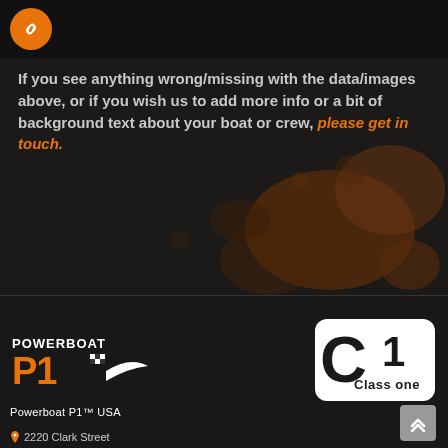[Figure (screenshot): Dark strip at top with orange circular link/chain icon]
If you see anything wrong/missing with the data/images above, or if you wish us to add more info or a bit of background text about your boat or crew, please get in touch.
[Figure (logo): Powerboat P1 logo - white text POWERBOAT P1 with checkered flag and wing icon]
Powerboat P1™ USA
[Figure (logo): Class One logo - white stylized C1 with Class one text]
2220 Clark Street